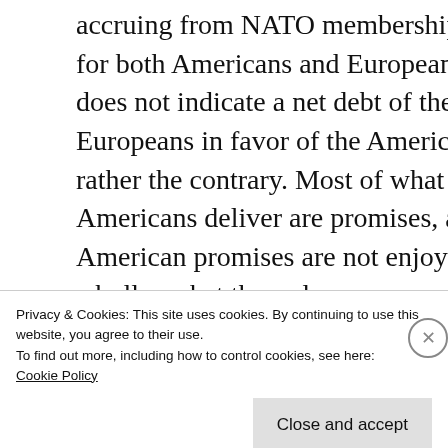accruing from NATO membership for both Americans and Europeans does not indicate a net debt of the Europeans in favor of the Americans, rather the contrary. Most of what the Americans deliver are promises, and American promises are not enjoying a bull market these days.
Advertisements
[Figure (logo): Dark navy background with Sensei logo — a white circle with a tree/bonsai icon inside, followed by the text 'sensei' in white sans-serif letters]
Privacy & Cookies: This site uses cookies. By continuing to use this website, you agree to their use.
To find out more, including how to control cookies, see here: Cookie Policy
Close and accept